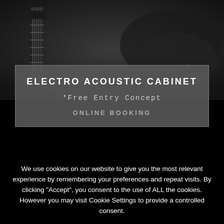[Figure (photo): Dark background photo of an electric guitar neck and body, black and white tones]
ELECTRO ACOUSTIC CABINET
*Free Entry Concept
ONLINE BOOKING
We use cookies on our website to give you the most relevant experience by remembering your preferences and repeat visits. By clicking "Accept", you consent to the use of ALL the cookies. However you may visit Cookie Settings to provide a controlled consent.
Settings
Accept
You can refuse consent here.